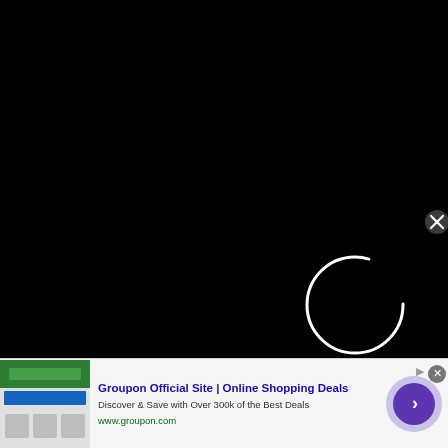EDM Identity strives to provide quality content about electronic dance music and the culture that surrounds it in the US and abroad.
Contact us: contact(at)edmidentity.com
[Figure (other): Loading spinner circle (white outline circle) on black background, with a close/X button icon in upper right area]
[Figure (other): Advertisement banner: Groupon Official Site | Online Shopping Deals. Discover & Save with Over 300k of the Best Deals. www.groupon.com. Shows product images on left, text in center, purple circle with arrow button on right.]